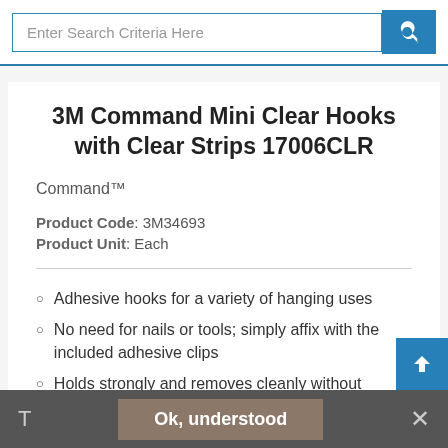[Figure (screenshot): Search bar with text input field saying 'Enter Search Criteria Here' and a blue search button with magnifying glass icon]
3M Command Mini Clear Hooks with Clear Strips 17006CLR
Command™
Product Code: 3M34693
Product Unit: Each
Adhesive hooks for a variety of hanging uses
No need for nails or tools; simply affix with the included adhesive clips
Holds strongly and removes cleanly without leaving marks on the walls
T   Ok, understood   ✕